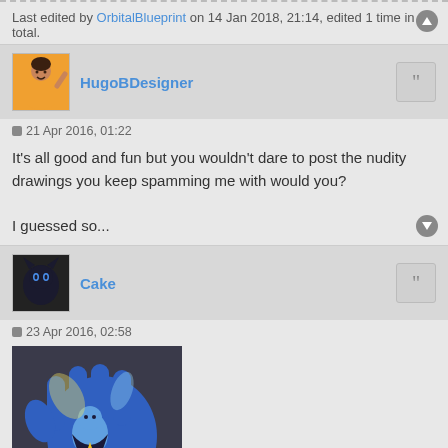Last edited by OrbitalBlueprint on 14 Jan 2018, 21:14, edited 1 time in total.
HugoBDesigner
21 Apr 2016, 01:22
It's all good and fun but you wouldn't dare to post the nudity drawings you keep spamming me with would you?

I guessed so...
Cake
23 Apr 2016, 02:58
[Figure (illustration): Fan art illustration showing a blue cartoon character being held in a large blue hand, dark background with yellow and light blue accents]